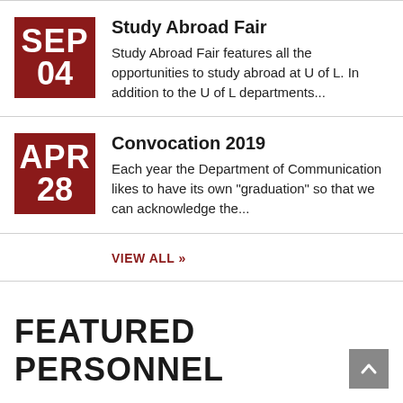Study Abroad Fair
Study Abroad Fair features all the opportunities to study abroad at U of L.  In addition to the U of L departments...
Convocation 2019
Each year the Department of Communication likes to have its own "graduation" so that we can acknowledge the...
VIEW ALL »
FEATURED PERSONNEL